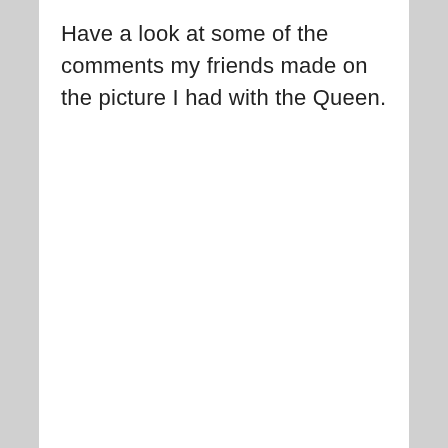Have a look at some of the comments my friends made on the picture I had with the Queen.